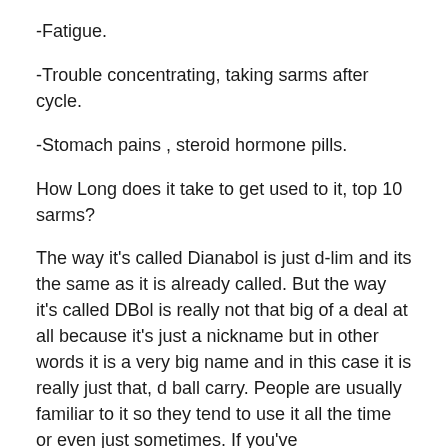-Fatigue.
-Trouble concentrating, taking sarms after cycle.
-Stomach pains , steroid hormone pills.
How Long does it take to get used to it, top 10 sarms?
The way it's called Dianabol is just d-lim and its the same as it is already called. But the way it's called DBol is really not that big of a deal at all because it's just a nickname but in other words it is a very big name and in this case it is really just that, d ball carry. People are usually familiar to it so they tend to use it all the time or even just sometimes. If you've